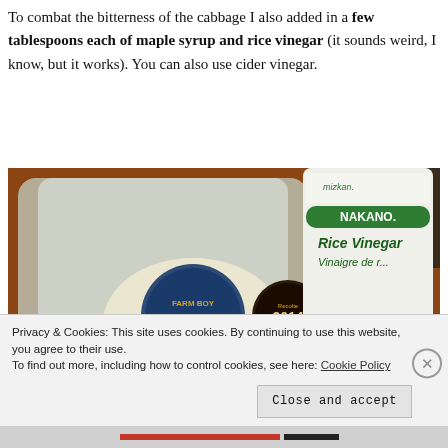To combat the bitterness of the cabbage I also added in a few tablespoons each of maple syrup and rice vinegar (it sounds weird, I know, but it works). You can also use cider vinegar.
[Figure (photo): Photo showing two bottles side by side: a Farm Boy Pure Maple Syrup Canada No.1 Light bottle (glass, clear) with a Recolte 2014 Harvest sticker, and a Nakano Rice Vinegar (Vinaigre de riz) bottle with Natural/Naturel label, on a wooden surface.]
Privacy & Cookies: This site uses cookies. By continuing to use this website, you agree to their use.
To find out more, including how to control cookies, see here: Cookie Policy
Close and accept